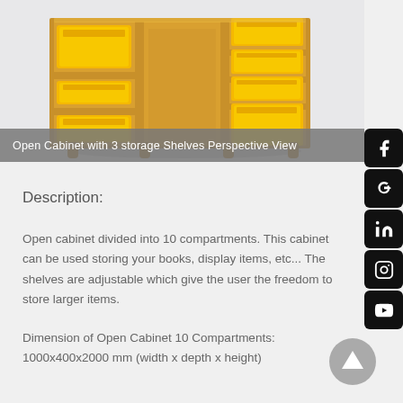[Figure (photo): Open cabinet (wooden, golden-brown) with yellow storage trays in multiple compartments, perspective view on light grey background]
Open Cabinet with 3 storage Shelves Perspective View
Description:
Open cabinet divided into 10 compartments. This cabinet can be used storing your books, display items, etc... The shelves are adjustable which give the user the freedom to store larger items.
Dimension of Open Cabinet 10 Compartments:
1000x400x2000 mm (width x depth x height)